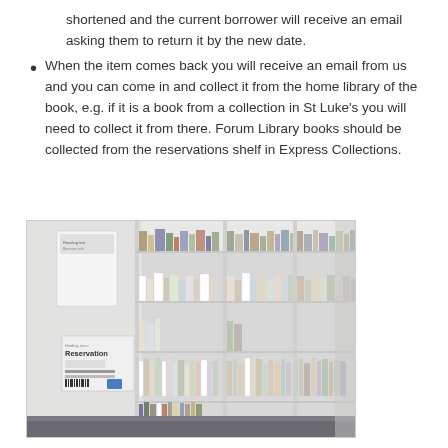shortened and the current borrower will receive an email asking them to return it by the new date.
When the item comes back you will receive an email from us and you can come in and collect it from the home library of the book, e.g. if it is a book from a collection in St Luke's you will need to collect it from there. Forum Library books should be collected from the reservations shelf in Express Collections.
[Figure (photo): Photo of library reservation shelves with books arranged on white metal shelving units. A reservation label is visible on the left side of the shelving unit.]